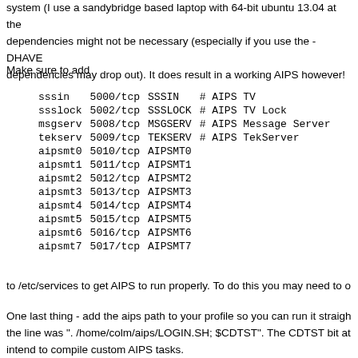system (I use a sandybridge based laptop with 64-bit ubuntu 13.04 at the dependencies might not be necessary (especially if you use the -DHAVE dependencies may drop out). It does result in a working AIPS however!
Make sure to add
| sssin | 5000/tcp | SSSIN | # AIPS TV |
| ssslock | 5002/tcp | SSSLOCK | # AIPS TV Lock |
| msgserv | 5008/tcp | MSGSERV | # AIPS Message Server |
| tekserv | 5009/tcp | TEKSERV | # AIPS TekServer |
| aipsmt0 | 5010/tcp | AIPSMT0 |  |
| aipsmt1 | 5011/tcp | AIPSMT1 |  |
| aipsmt2 | 5012/tcp | AIPSMT2 |  |
| aipsmt3 | 5013/tcp | AIPSMT3 |  |
| aipsmt4 | 5014/tcp | AIPSMT4 |  |
| aipsmt5 | 5015/tcp | AIPSMT5 |  |
| aipsmt6 | 5016/tcp | AIPSMT6 |  |
| aipsmt7 | 5017/tcp | AIPSMT7 |  |
to /etc/services to get AIPS to run properly. To do this you may need to o
One last thing - add the aips path to your profile so you can run it straigh the line was ". /home/colm/aips/LOGIN.SH; $CDTST". The CDTST bit at intend to compile custom AIPS tasks.